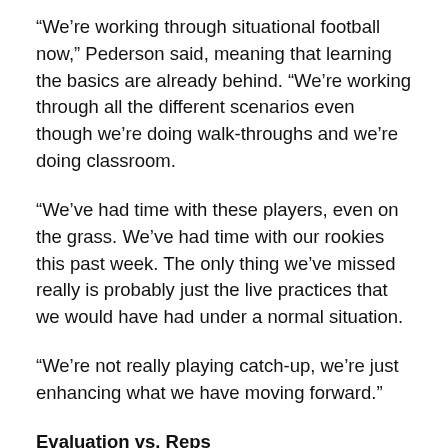“We’re working through situational football now,” Pederson said, meaning that learning the basics are already behind. “We’re working through all the different scenarios even though we’re doing walk-throughs and we’re doing classroom.
“We’ve had time with these players, even on the grass. We’ve had time with our rookies this past week. The only thing we’ve missed really is probably just the live practices that we would have had under a normal situation.
“We’re not really playing catch-up, we’re just enhancing what we have moving forward.”
Evaluation vs. Reps
Maybe the biggest difference Pederson was willing to acknowledge was the evaluation process in the absence of preseason games.